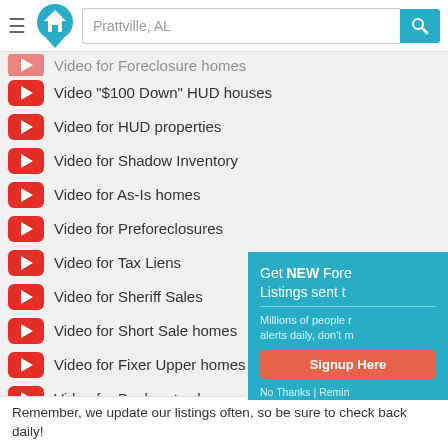Prattville, AL — search bar with logo
Video for Foreclosure homes (partial)
Video "$100 Down" HUD houses
Video for HUD properties
Video for Shadow Inventory
Video for As-Is homes
Video for Preforeclosures
Video for Tax Liens
Video for Sheriff Sales
Video for Short Sale homes
Video for Fixer Upper homes
Video for Bankruptcy homes
Video for City Owned homes
Video for Rent to Own homes
[Figure (screenshot): Popup overlay: Get NEW Fore... Listings sent t... Millions of people r... alerts daily, don't m... Signup Here button. No Thanks | Remin...]
Remember, we update our listings often, so be sure to check back daily!